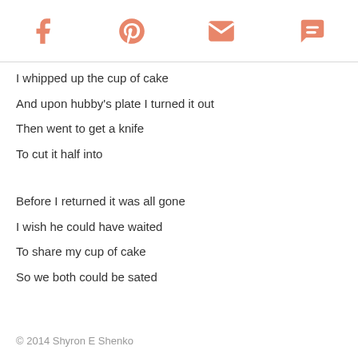Social share icons: Facebook, Pinterest, Email, Comment
I whipped up the cup of cake
And upon hubby's plate I turned it out
Then went to get a knife
To cut it half into
Before I returned it was all gone
I wish he could have waited
To share my cup of cake
So we both could be sated
© 2014 Shyron E Shenko